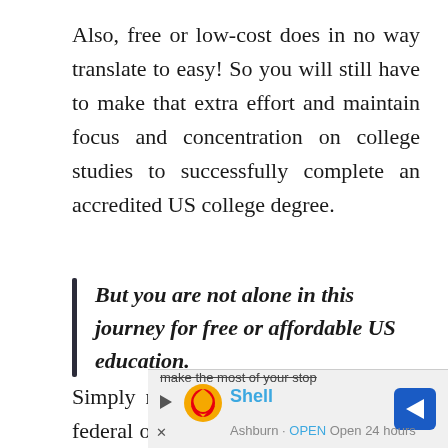Also, free or low-cost does in no way translate to easy! So you will still have to make that extra effort and maintain focus and concentration on college studies to successfully complete an accredited US college degree.
But you are not alone in this journey for free or affordable US education.
Simply reach out to the colleges, the federal or state scholarships, the online course providers, your mentors, instructors, peer students or your
[Figure (other): Advertisement overlay showing Shell logo, 'Shell' text in blue, a navigation arrow icon in blue, play button, close button, and partially visible text 'make the most of your stop' and 'Ashburn OPEN Open 24 hours']